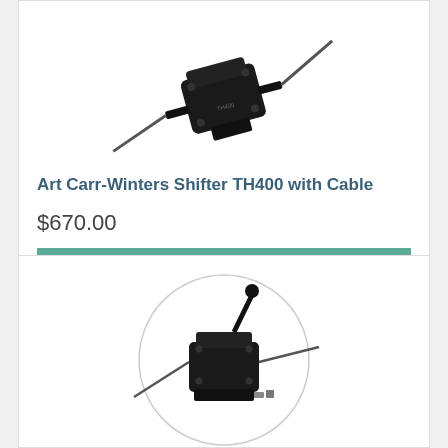[Figure (photo): Photo of Art Carr-Winters Shifter TH400 with Cable product, showing a black transmission shifter unit with cable attachments, partially cropped at top]
Art Carr-Winters Shifter TH400 with Cable
$670.00
Add to Cart
[Figure (photo): Photo of another shifter product shown inside a circular display frame, black shifter with cable and hardware components visible]